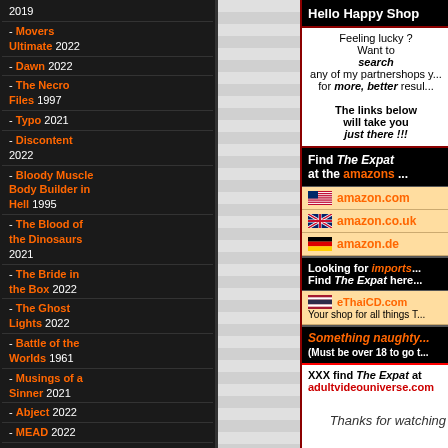2019
- Movers Ultimate 2022
- Dawn 2022
- The Necro Files 1997
- Typo 2021
- Discontent 2022
- Bloody Muscle Body Builder in Hell 1995
- The Blood of the Dinosaurs 2021
- The Bride in the Box 2022
- The Ghost Lights 2022
- Battle of the Worlds 1961
- Musings of a Sinner 2021
- Abject 2022
- MEAD 2022
- Attack of the Killer Chickens 2022
- The Dead Girl in Apartment 03 2022
- Orders from Above 2021
- Summer Issues 2020
- The Andy Baker Tape 2021
- Kung Fu Ghost 2022
- L.A.M. 2021
Hello Happy Shop
Feeling lucky ? Want to search any of my partnershops y... for more, better resul...
The links below will take you just there !!!
Find The Expat at the amazons ...
amazon.com
amazon.co.uk
amazon.de
Looking for imports... Find The Expat here...
eThaiCD.com Your shop for all things T...
Something naughty... (Must be over 18 to go t...
XXX find The Expat at adultvideouniverse.com
Thanks for watching